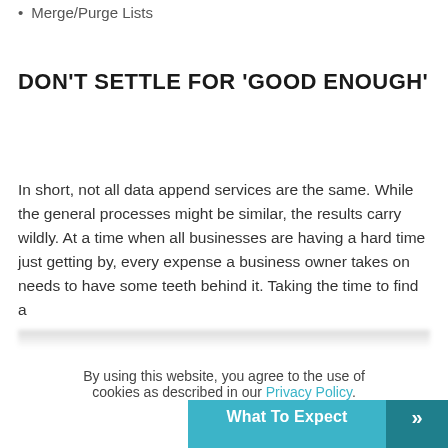Merge/Purge Lists
DON'T SETTLE FOR 'GOOD ENOUGH'
In short, not all data append services are the same. While the general processes might be similar, the results carry wildly. At a time when all businesses are having a hard time just getting by, every expense a business owner takes on needs to have some teeth behind it. Taking the time to find a
By using this website, you agree to the use of cookies as described in our Privacy Policy.